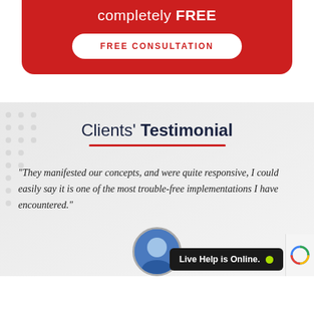completely FREE
FREE CONSULTATION
Clients' Testimonial
"They manifested our concepts, and were quite responsive, I could easily say it is one of the most trouble-free implementations I have encountered."
Live Help is Online.